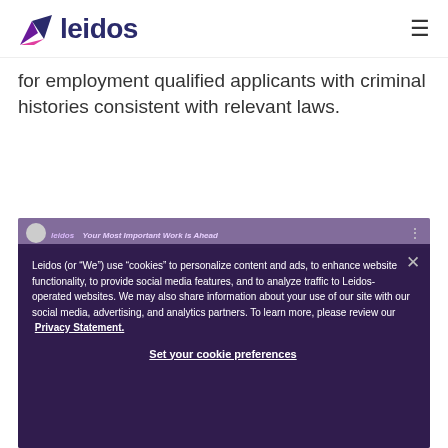leidos
for employment qualified applicants with criminal histories consistent with relevant laws.
[Figure (screenshot): Leidos video thumbnail with overlay cookie consent banner. Background shows a partially visible team photo. Overlay shows cookie notice text and button.]
Leidos (or “We”) use “cookies” to personalize content and ads, to enhance website functionality, to provide social media features, and to analyze traffic to Leidos-operated websites. We may also share information about your use of our site with our social media, advertising, and analytics partners. To learn more, please review our Privacy Statement.
Set your cookie preferences